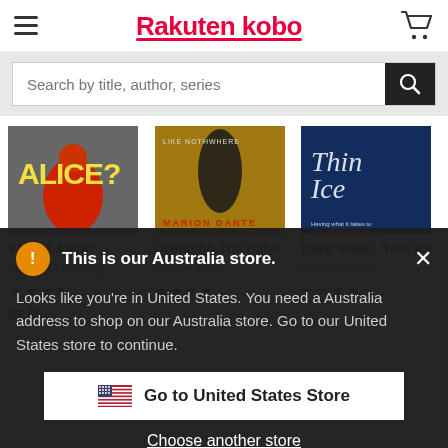Rakuten kobo
Search by title, author, series
[Figure (screenshot): Book cover for 'Who is Alice?' showing dark background with large text 'ALICE?' in yellow and red hooded figure]
Who is Alice?
Miranda Manning
[Figure (screenshot): Book cover for 'Dropping The Habit' by Marion Dante showing dark silhouette figure on golden background]
Dropping The Habit
Marion dante
[Figure (screenshot): Book cover for 'Deep Water, Thin Ice' by Kathy Shuker showing dark blue underwater/water scene with white script text]
Deep Water, Thin Ice
Kathy Shuker
This is our Australia store.
Looks like you're in United States. You need a Australia address to shop on our Australia store. Go to our United States store to continue.
Go to United States Store
Choose another store